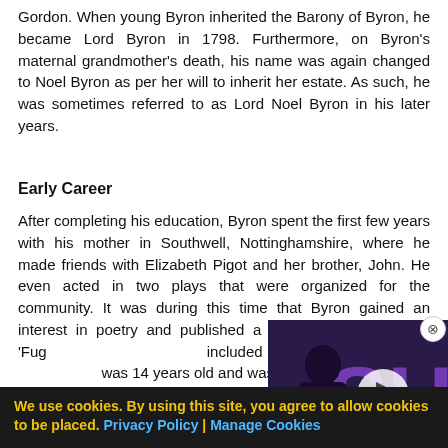Gordon. When young Byron inherited the Barony of Byron, he became Lord Byron in 1798. Furthermore, on Byron's maternal grandmother's death, his name was again changed to Noel Byron as per her will to inherit her estate. As such, he was sometimes referred to as Lord Noel Byron in his later years.
Early Career
After completing his education, Byron spent the first few years with his mother in Southwell, Nottinghamshire, where he made friends with Elizabeth Pigot and her brother, John. He even acted in two plays that were organized for the community. It was during this time that Byron gained an interest in poetry and published a volume of poetry titled 'Fugitive Pieces'. This book included poems that were written when Byron was 14 years old and was p...
[Figure (screenshot): Video overlay showing a man in a dark suit against a purple/dark background with letters 'SU', with a play button in the center and a close button in the upper right.]
We use cookies. By using this site, you agree to allow cookies to be placed. Privacy Policy | Manage Cookies